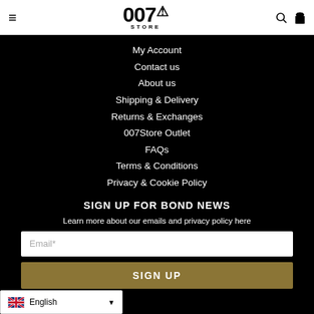007 Store
My Account
Contact us
About us
Shipping & Delivery
Returns & Exchanges
007Store Outlet
FAQs
Terms & Conditions
Privacy & Cookie Policy
SIGN UP FOR BOND NEWS
Learn more about our emails and privacy policy here
Email*
SIGN UP
English